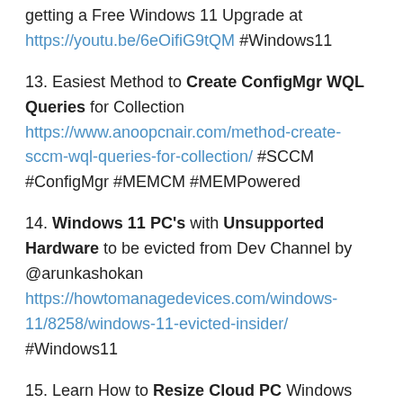getting a Free Windows 11 Upgrade at https://youtu.be/6eOifiG9tQM #Windows11
13. Easiest Method to Create ConfigMgr WQL Queries for Collection https://www.anoopcnair.com/method-create-sccm-wql-queries-for-collection/ #SCCM #ConfigMgr #MEMCM #MEMPowered
14. Windows 11 PC's with Unsupported Hardware to be evicted from Dev Channel by @arunkashokan https://howtomanagedevices.com/windows-11/8258/windows-11-evicted-insider/ #Windows11
15. Learn How to Resize Cloud PC Windows 365 https://www.anoopcnair.com/learn-how-to-resize-cloud-pc-windows-365/ #MSIntune #CloudPC #Windows365 #W365Community
16. FIX: SCCM Application Installation Failed 0x87D00324